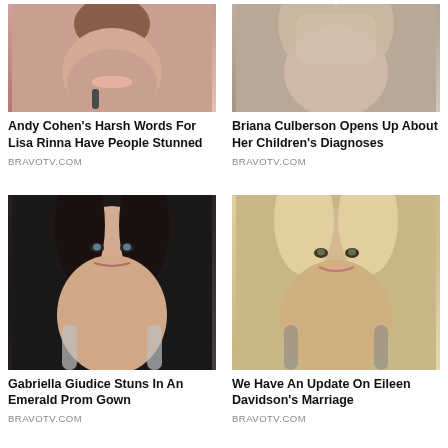[Figure (photo): Close-up photo of a woman applying lipstick]
Andy Cohen's Harsh Words For Lisa Rinna Have People Stunned
BRAVOTV.COM
[Figure (photo): Close-up photo of a blonde woman]
Briana Culberson Opens Up About Her Children's Diagnoses
BRAVOTV.COM
[Figure (photo): Close-up portrait photo of a young woman with dark hair and dramatic makeup]
Gabriella Giudice Stuns In An Emerald Prom Gown
BRAVOTV.COM
[Figure (photo): Close-up portrait photo of a smiling blonde woman]
We Have An Update On Eileen Davidson's Marriage
BRAVOTV.COM